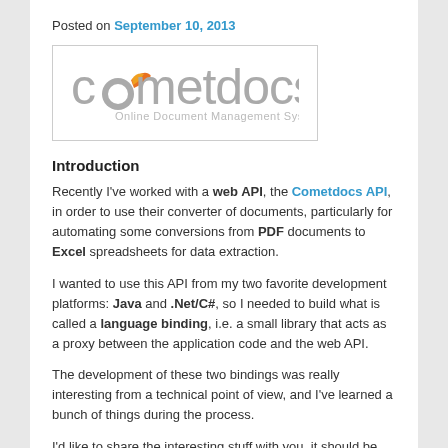Posted on September 10, 2013
[Figure (logo): Cometdocs logo — stylized text 'cometdocs' with an orange comet icon replacing the letter 'o', subtitle 'Online Document Management System']
Introduction
Recently I've worked with a web API, the Cometdocs API, in order to use their converter of documents, particularly for automating some conversions from PDF documents to Excel spreadsheets for data extraction.
I wanted to use this API from my two favorite development platforms: Java and .Net/C#, so I needed to build what is called a language binding, i.e. a small library that acts as a proxy between the application code and the web API.
The development of these two bindings was really interesting from a technical point of view, and I've learned a bunch of things during the process.
I'd like to share the interesting stuff with you, it should be...